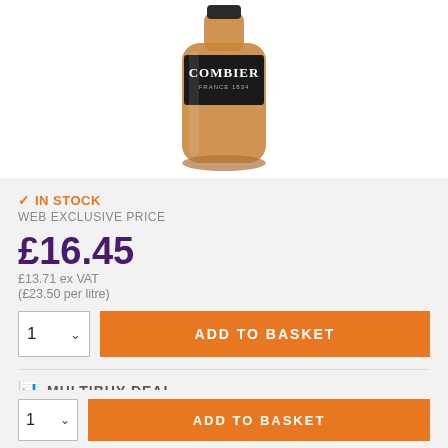[Figure (photo): Product photo of a Combier France 1834 liqueur bottle, amber/orange colored bottle with black label]
✓ IN STOCK
WEB EXCLUSIVE PRICE
£16.45
£13.71 ex VAT
(£23.50 per litre)
ADD TO BASKET
MULTIBUY DEAL
ADD TO BASKET